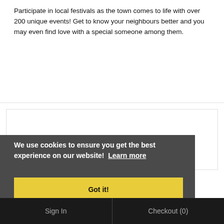Participate in local festivals as the town comes to life with over 200 unique events! Get to know your neighbours better and you may even find love with a special someone among them.
We use cookies to ensure you get the best experience on our website! Learn more
Got it!
Sign In | Checkout (0)